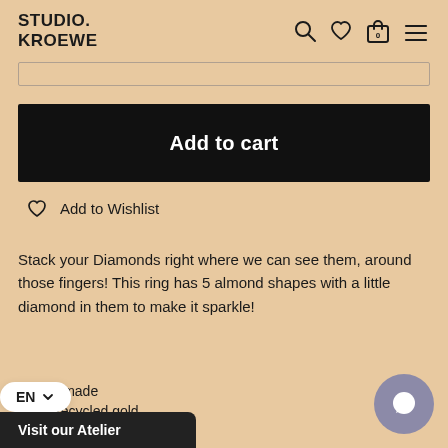STUDIO.
KROEWE
[Figure (screenshot): Search bar input box]
Add to cart
Add to Wishlist
Stack your Diamonds right where we can see them, around those fingers! This ring has 5 almond shapes with a little diamond in them to make it sparkle!
- Handmade
- 14k recycled gold
- Diamonds: 5x ø1.3mm
show more
Visit our Atelier